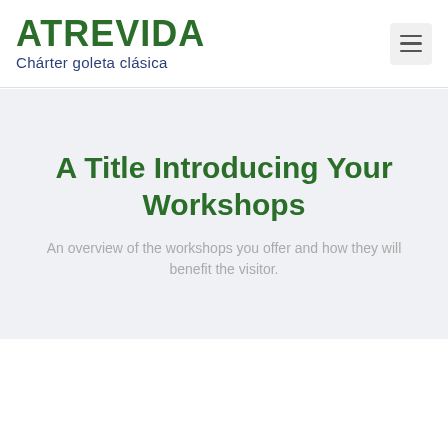ATREVIDA
Chárter goleta clásica
A Title Introducing Your Workshops
An overview of the workshops you offer and how they will benefit the visitor.